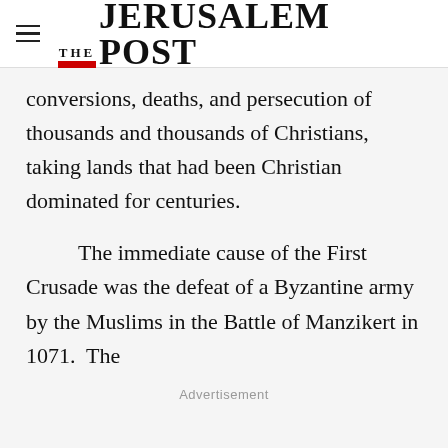THE JERUSALEM POST
conversions, deaths, and persecution of thousands and thousands of Christians, taking lands that had been Christian dominated for centuries.
The immediate cause of the First Crusade was the defeat of a Byzantine army by the Muslims in the Battle of Manzikert in 1071.  The
Advertisement